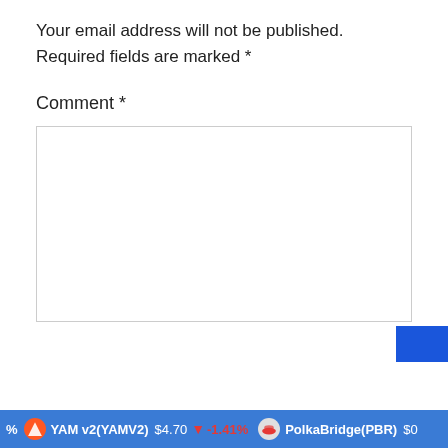Your email address will not be published. Required fields are marked *
Comment *
[Figure (screenshot): Empty comment text area input box with border]
YAM v2(YAMV2) $4.70 ▼ -1.41%   PolkaBridge(PBR) $0...